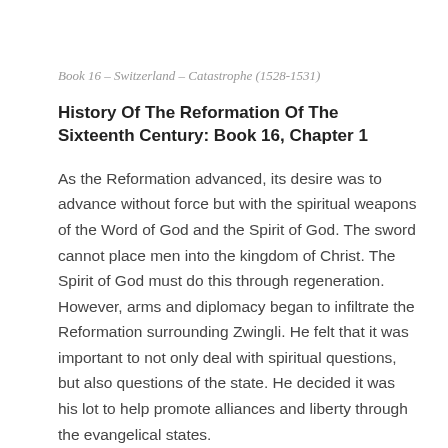Book 16 – Switzerland – Catastrophe (1528-1531)
History Of The Reformation Of The Sixteenth Century: Book 16, Chapter 1
As the Reformation advanced, its desire was to advance without force but with the spiritual weapons of the Word of God and the Spirit of God. The sword cannot place men into the kingdom of Christ. The Spirit of God must do this through regeneration. However, arms and diplomacy began to infiltrate the Reformation surrounding Zwingli. He felt that it was important to not only deal with spiritual questions, but also questions of the state. He decided it was his lot to help promote alliances and liberty through the evangelical states.